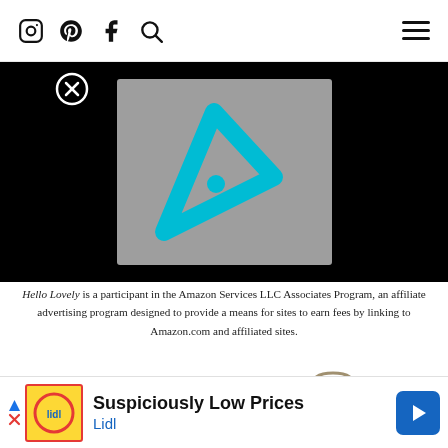Navigation header with Instagram, Pinterest, Facebook, Search icons and hamburger menu
[Figure (screenshot): Video thumbnail with cyan/teal triangular play button logo on grey background, overlaid on black background. Close button (x in circle) visible top left.]
Hello Lovely is a participant in the Amazon Services LLC Associates Program, an affiliate advertising program designed to provide a means for sites to earn fees by linking to Amazon.com and affiliated sites.
[Figure (photo): Product carousel showing white sofa on left and woven seagrass baskets on right, with left and right navigation arrows]
[Figure (screenshot): Lidl advertisement banner: 'Suspiciously Low Prices' with Lidl logo and blue diamond arrow icon]